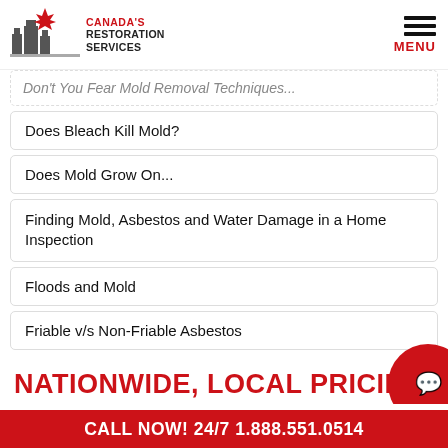[Figure (logo): Canada's Restoration Services logo with maple leaf and city buildings graphic, red brand name text]
Does Bleach Kill Mold?
Does Mold Grow On...
Finding Mold, Asbestos and Water Damage in a Home Inspection
Floods and Mold
Friable v/s Non-Friable Asbestos
NATIONWIDE, LOCAL PRICING
Canada's Restoration Services offers local water & f...
CALL NOW! 24/7 1.888.551.0514